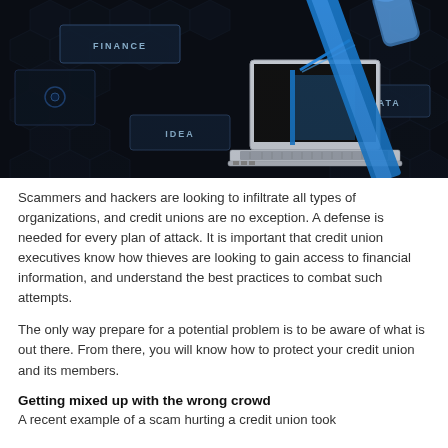[Figure (photo): Dark digital/cyber themed image showing a laptop computer with a glowing blue holographic hand pointing at floating interface panels labeled FINANCE, IDEA, DATA against a dark hexagonal background.]
Scammers and hackers are looking to infiltrate all types of organizations, and credit unions are no exception. A defense is needed for every plan of attack. It is important that credit union executives know how thieves are looking to gain access to financial information, and understand the best practices to combat such attempts.
The only way prepare for a potential problem is to be aware of what is out there. From there, you will know how to protect your credit union and its members.
Getting mixed up with the wrong crowd
A recent example of a scam hurting a credit union took